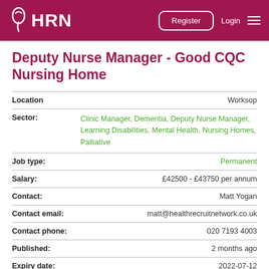HRN | Register | Login
Deputy Nurse Manager - Good CQC Nursing Home
| Field | Value |
| --- | --- |
| Location | Worksop |
| Sector: | Clinic Manager, Dementia, Deputy Nurse Manager, Learning Disabilities, Mental Health, Nursing Homes, Palliative |
| Job type: | Permanent |
| Salary: | £42500 - £43750 per annum |
| Contact: | Matt Yogan |
| Contact email: | matt@healthrecruitnetwork.co.uk |
| Contact phone: | 020 7193 4003 |
| Published: | 2 months ago |
| Expiry date: | 2022-07-12 |